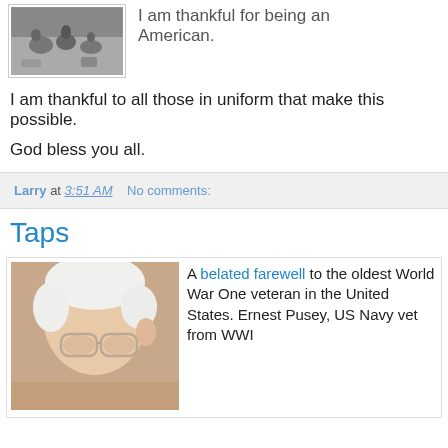[Figure (photo): Black and white historical photo of people gathered around bowls or pots on the ground]
I am thankful for being an American.
I am thankful to all those in uniform that make this possible.
God bless you all.
Larry at 3:51 AM   No comments:
Taps
[Figure (photo): Color photo of an elderly white-haired man wearing glasses]
A belated farewell to the oldest World War One veteran in the United States. Ernest Pusey, US Navy vet from WWI